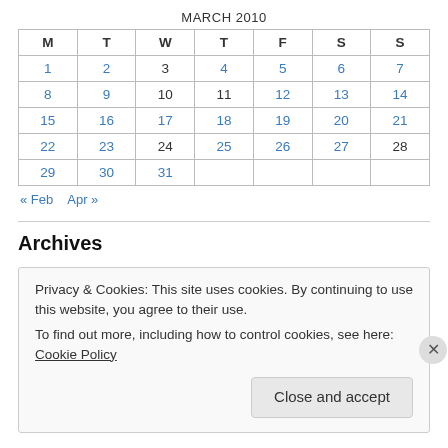MARCH 2010
| M | T | W | T | F | S | S |
| --- | --- | --- | --- | --- | --- | --- |
| 1 | 2 | 3 | 4 | 5 | 6 | 7 |
| 8 | 9 | 10 | 11 | 12 | 13 | 14 |
| 15 | 16 | 17 | 18 | 19 | 20 | 21 |
| 22 | 23 | 24 | 25 | 26 | 27 | 28 |
| 29 | 30 | 31 |  |  |  |  |
« Feb   Apr »
Archives
Privacy & Cookies: This site uses cookies. By continuing to use this website, you agree to their use.
To find out more, including how to control cookies, see here: Cookie Policy
Close and accept